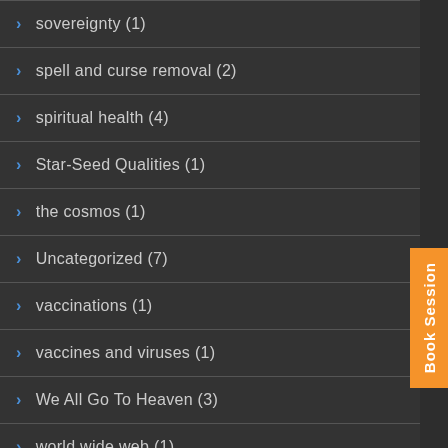sovereignty (1)
spell and curse removal (2)
spiritual health (4)
Star-Seed Qualities (1)
the cosmos (1)
Uncategorized (7)
vaccinations (1)
vaccines and viruses (1)
We All Go To Heaven (3)
world wide web (1)